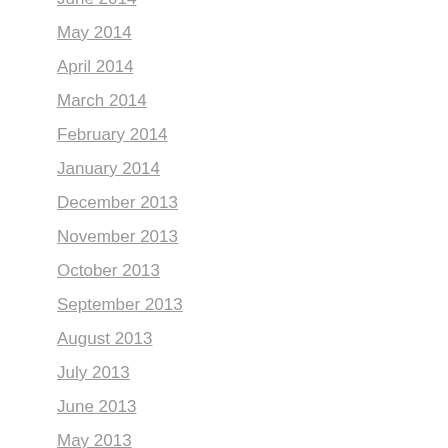June 2014
May 2014
April 2014
March 2014
February 2014
January 2014
December 2013
November 2013
October 2013
September 2013
August 2013
July 2013
June 2013
May 2013
April 2013
March 2013
February 2013
January 2013